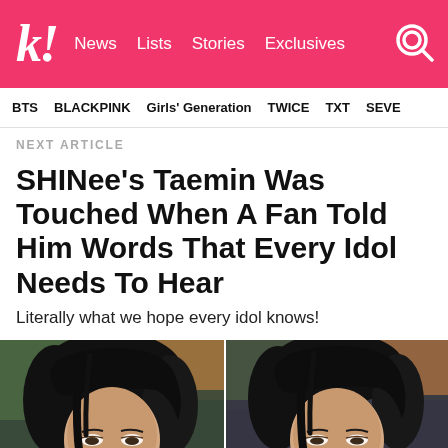k! News Lists Stories Exclusives
BTS BLACKPINK Girls' Generation TWICE TXT SEVE
NEXT ARTICLE
SHINee's Taemin Was Touched When A Fan Told Him Words That Every Idol Needs To Hear
Literally what we hope every idol knows!
[Figure (photo): Two side-by-side video screenshots of SHINee's Taemin with black hair, looking down, from a livestream with colorful background]